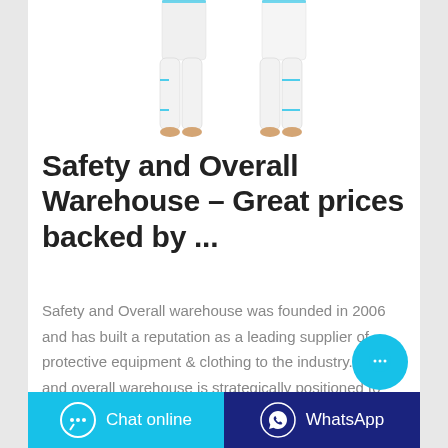[Figure (photo): Two people wearing white protective overalls/coveralls with teal/cyan accents, shown from waist down]
Safety and Overall Warehouse – Great prices backed by ...
Safety and Overall warehouse was founded in 2006 and has built a reputation as a leading supplier of protective equipment & clothing to the industry. Safety and overall warehouse is strategically positioned to offer a comprehensive solution to individual and company needs based on service that speaks of professionalism and technical expertise.. Our focus is to form